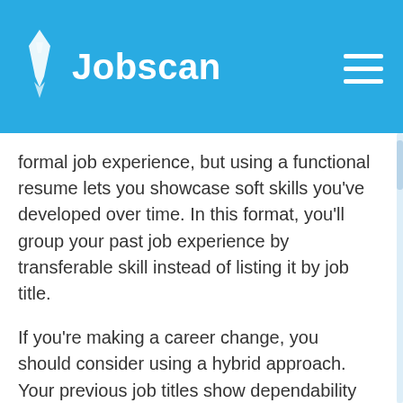Jobscan
formal job experience, but using a functional resume lets you showcase soft skills you've developed over time. In this format, you'll group your past job experience by transferable skill instead of listing it by job title.
If you're making a career change, you should consider using a hybrid approach. Your previous job titles show dependability and job stability, but the specific job title could get your resume thrown out by the ATS. For this format, include your keywords and skills at the top and follow it with your chronological job history, tailoring your job